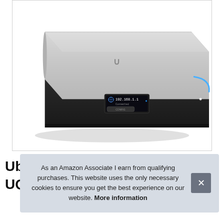[Figure (photo): Ubiquiti UniFi Cloud Key or similar network appliance device shown from a 3/4 angle. The device is a flat rectangular box with a silver/aluminum top and black front panel. The front panel shows a small LCD display reading '192.168.1.1' and a blue LED indicator on the right side.]
Ub UQ
As an Amazon Associate I earn from qualifying purchases. This website uses the only necessary cookies to ensure you get the best experience on our website. More information